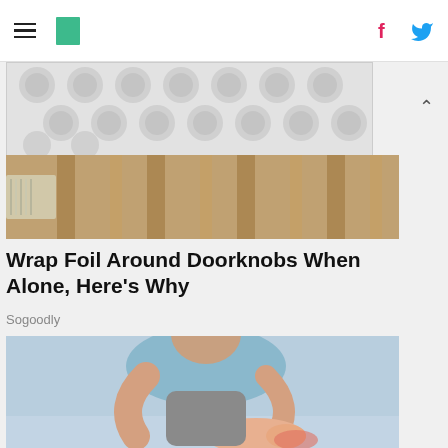HuffPost navigation with hamburger menu, logo, facebook and twitter icons
[Figure (photo): Advertisement banner with circular dot pattern in grey tones]
[Figure (photo): Photo of foil wrapped around a doorknob, warm toned interior background]
Wrap Foil Around Doorknobs When Alone, Here's Why
Sogoodly
[Figure (photo): Man in light blue t-shirt bending forward holding his foot, foot pain concept, light blue background]